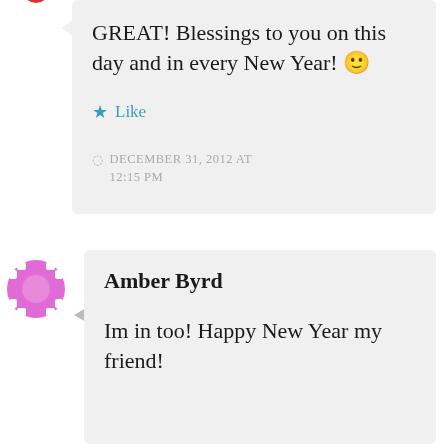GREAT! Blessings to you on this day and in every New Year! 🙂
Like
DECEMBER 31, 2012 AT 12:15 PM
Amber Byrd
Im in too! Happy New Year my friend!